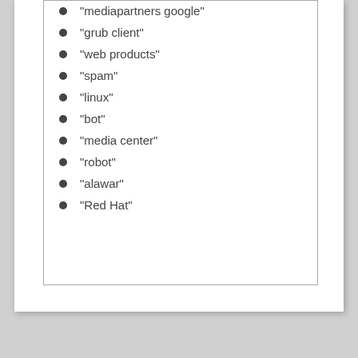"mediapartners google"
"grub client"
"web products"
"spam"
"linux"
"bot"
"media center"
"robot"
"alawar"
"Red Hat"